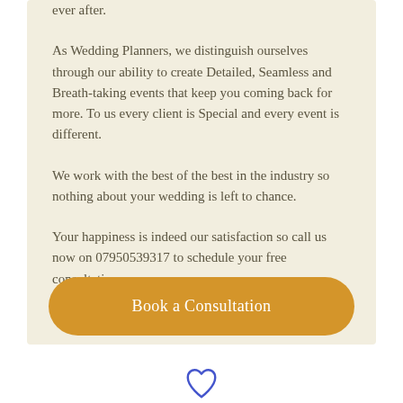ever after.

As Wedding Planners, we distinguish ourselves through our ability to create Detailed, Seamless and Breath-taking events that keep you coming back for more. To us every client is Special and every event is different.

We work with the best of the best in the industry so nothing about your wedding is left to chance.

Your happiness is indeed our satisfaction so call us now on 07950539317 to schedule your free consultation.
Book a Consultation
[Figure (illustration): A heart outline icon in blue/indigo color, partially visible at the bottom of the page]